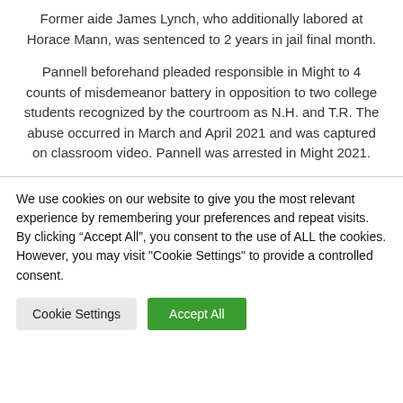Former aide James Lynch, who additionally labored at Horace Mann, was sentenced to 2 years in jail final month.
Pannell beforehand pleaded responsible in Might to 4 counts of misdemeanor battery in opposition to two college students recognized by the courtroom as N.H. and T.R. The abuse occurred in March and April 2021 and was captured on classroom video. Pannell was arrested in Might 2021.
We use cookies on our website to give you the most relevant experience by remembering your preferences and repeat visits. By clicking “Accept All”, you consent to the use of ALL the cookies. However, you may visit "Cookie Settings" to provide a controlled consent.